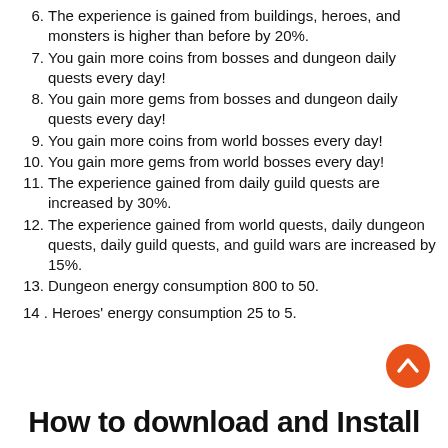6. The experience is gained from buildings, heroes, and monsters is higher than before by 20%.
7. You gain more coins from bosses and dungeon daily quests every day!
8. You gain more gems from bosses and dungeon daily quests every day!
9. You gain more coins from world bosses every day!
10. You gain more gems from world bosses every day!
11. The experience gained from daily guild quests are increased by 30%.
12. The experience gained from world quests, daily dungeon quests, daily guild quests, and guild wars are increased by 15%.
13. Dungeon energy consumption 800 to 50.
14. Heroes' energy consumption 25 to 5.
[Figure (other): Orange circular scroll-to-top button with upward chevron arrow]
How to download and Install